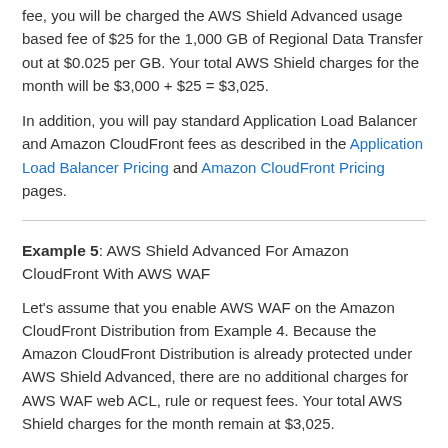fee, you will be charged the AWS Shield Advanced usage based fee of $25 for the 1,000 GB of Regional Data Transfer out at $0.025 per GB. Your total AWS Shield charges for the month will be $3,000 + $25 = $3,025.
In addition, you will pay standard Application Load Balancer and Amazon CloudFront fees as described in the Application Load Balancer Pricing and Amazon CloudFront Pricing pages.
Example 5: AWS Shield Advanced For Amazon CloudFront With AWS WAF
Let's assume that you enable AWS WAF on the Amazon CloudFront Distribution from Example 4. Because the Amazon CloudFront Distribution is already protected under AWS Shield Advanced, there are no additional charges for AWS WAF web ACL, rule or request fees. Your total AWS Shield charges for the month remain at $3,025.